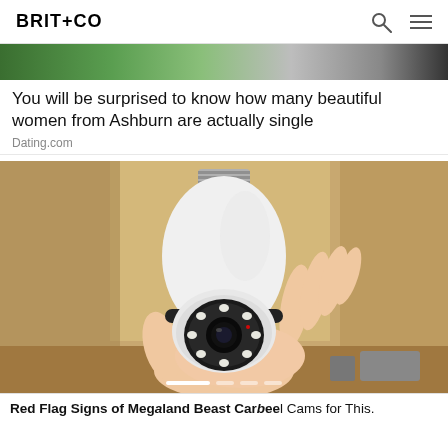BRIT+CO
[Figure (photo): Partial photo of women with flowers, top of ad card]
You will be surprised to know how many beautiful women from Ashburn are actually single
Dating.com
[Figure (photo): A hand holding a white security camera designed to look like a light bulb, with screw base at top and camera lens with infrared LEDs at front, photographed against a wooden shelf background]
Red Flag Signs of Megaland Beast Cams for This.